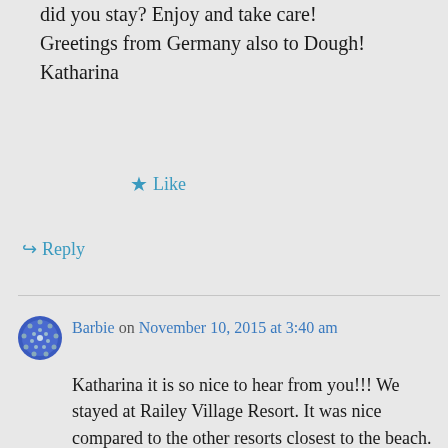did you stay? Enjoy and take care! Greetings from Germany also to Dough! Katharina
★ Like
↪ Reply
Barbie on November 10, 2015 at 3:40 am
Katharina it is so nice to hear from you!!! We stayed at Railey Village Resort. It was nice compared to the other resorts closest to the beach. It was so great to meet you. Especially in a beautiful place!